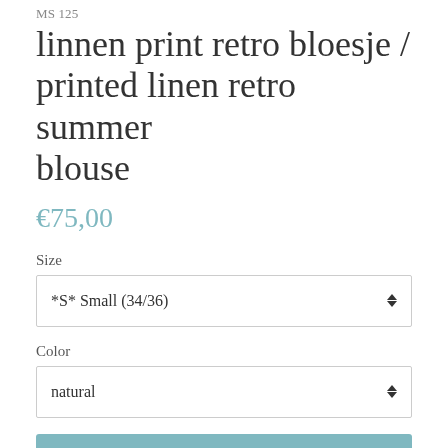MS 125
linnen print retro bloesje / printed linen retro summer blouse
€75,00
Size
*S* Small (34/36)
Color
natural
Voeg toe aan winkelwagen / Add to Cart
English text below: